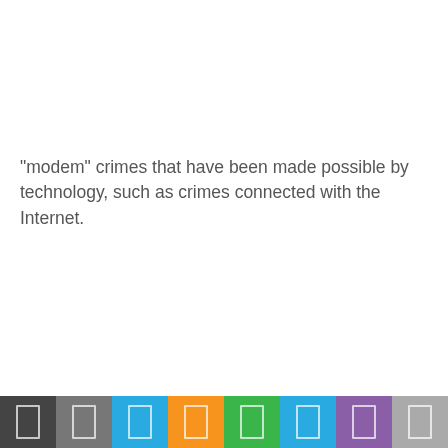"modem" crimes that have been made possible by technology, such as crimes connected with the Internet.